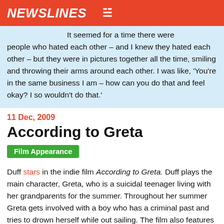NEWSLINES
It seemed for a time there were people who hated each other – and I knew they hated each other – but they were in pictures together all the time, smiling and throwing their arms around each other. I was like, 'You're in the same business I am – how can you do that and feel okay? I so wouldn't do that.'
11 Dec, 2009
According to Greta
Film Appearance
Duff stars in the indie film According to Greta. Duff plays the main character, Greta, who is a suicidal teenager living with her grandparents for the summer. Throughout her summer Greta gets involved with a boy who has a criminal past and tries to drown herself while out sailing. The film also features actors Evan Ross, Michael Murphy and Ellen Burstyn.